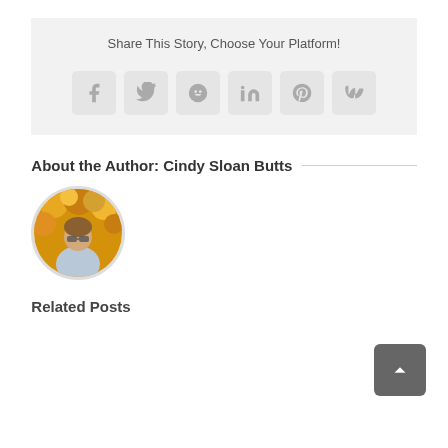Share This Story, Choose Your Platform!
[Figure (infographic): Social media sharing icons: Facebook, Twitter, Reddit, LinkedIn, Pinterest, VK]
About the Author: Cindy Sloan Butts
[Figure (photo): Circular profile photo of author Cindy Sloan Butts, a woman with sunglasses in front of yellow foliage]
Related Posts